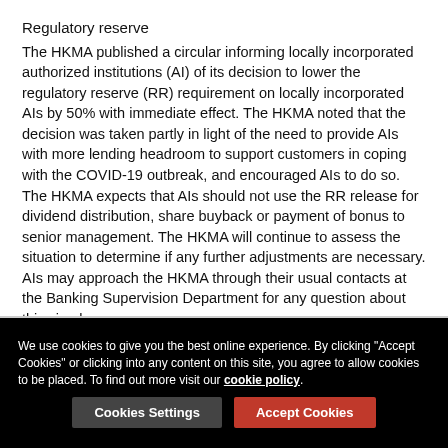Regulatory reserve
The HKMA published a circular informing locally incorporated authorized institutions (AI) of its decision to lower the regulatory reserve (RR) requirement on locally incorporated AIs by 50% with immediate effect. The HKMA noted that the decision was taken partly in light of the need to provide AIs with more lending headroom to support customers in coping with the COVID-19 outbreak, and encouraged AIs to do so. The HKMA expects that AIs should not use the RR release for dividend distribution, share buyback or payment of bonus to senior management. The HKMA will continue to assess the situation to determine if any further adjustments are necessary. AIs may approach the HKMA through their usual contacts at the Banking Supervision Department for any question about this circular.
We use cookies to give you the best online experience. By clicking "Accept Cookies" or clicking into any content on this site, you agree to allow cookies to be placed. To find out more visit our cookie policy.